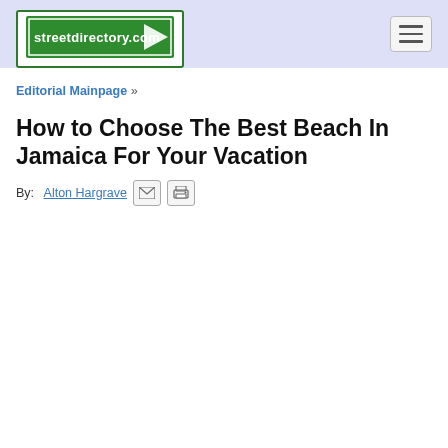streetdirectory.com
Editorial Mainpage »
How to Choose The Best Beach In Jamaica For Your Vacation
By: Alton Hargrave